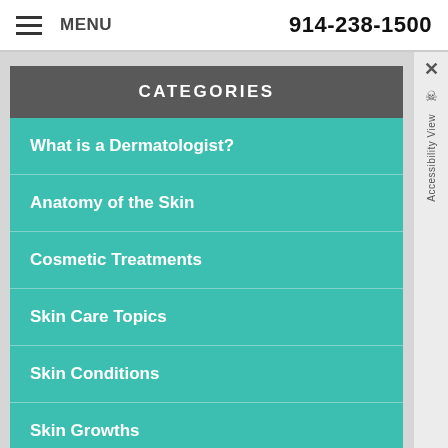MENU  914-238-1500
CATEGORIES
What is a Dermatologist?
Anatomy of the Skin
Cosmetic Treatments
Skin Care Topics
Skin Conditions
Skin Growths
Skin Infections